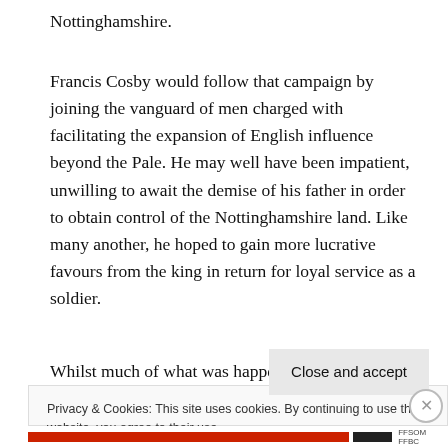Nottinghamshire.
Francis Cosby would follow that campaign by joining the vanguard of men charged with facilitating the expansion of English influence beyond the Pale. He may well have been impatient, unwilling to await the demise of his father in order to obtain control of the Nottinghamshire land. Like many another, he hoped to gain more lucrative favours from the king in return for loyal service as a soldier.
Whilst much of what was happening under the
Privacy & Cookies: This site uses cookies. By continuing to use this website, you agree to their use.
To find out more, including how to control cookies, see here:
Cookie Policy
Close and accept